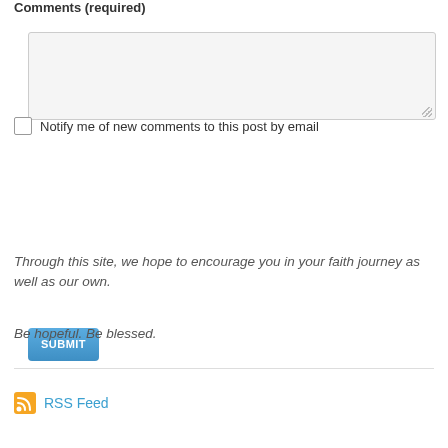Comments (required)
[Figure (screenshot): A textarea input box with light gray background and resize handle]
Notify me of new comments to this post by email
[Figure (screenshot): A blue SUBMIT button]
Through this site, we hope to encourage you in your faith journey as well as our own.
Be hopeful. Be blessed.
RSS Feed